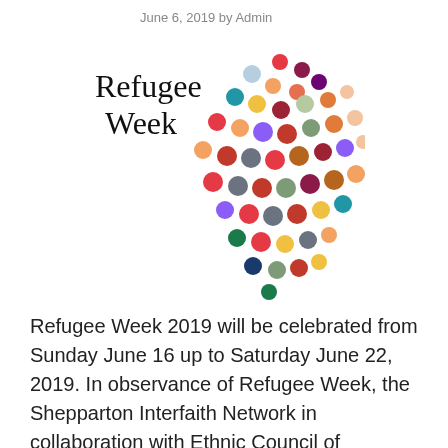June 6, 2019 by Admin
[Figure (logo): Refugee Week logo with colorful dots arranged in a cloud/scatter pattern next to the text 'Refugee Week' in serif font]
Refugee Week 2019 will be celebrated from Sunday June 16 up to Saturday June 22, 2019. In observance of Refugee Week, the Shepparton Interfaith Network in collaboration with Ethnic Council of Shepparton and District will present a Multifaith Service at St Brendan’s Church, Shepparton on 20 June, at 6:00pm. The theme for the service is “The Refugee in